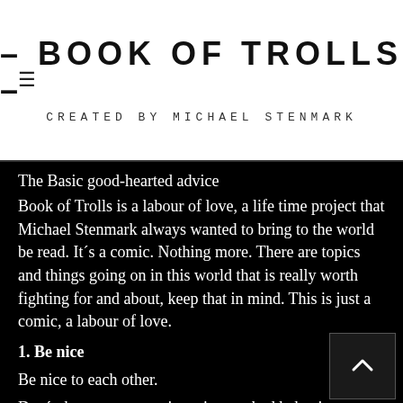- BOOK OF TROLLS - CREATED BY MICHAEL STENMARK
The Basic good-hearted advice
Book of Trolls is a labour of love, a life time project that Michael Stenmark always wanted to bring to the world be read. It´s a comic. Nothing more. There are topics and things going on in this world that is really worth fighting for and about, keep that in mind. This is just a comic, a labour of love.
1. Be nice
Be nice to each other.
Don´t throw away precious time on bad behaviour.
We only live once*.
Life is, from a cosmic view point, very short.